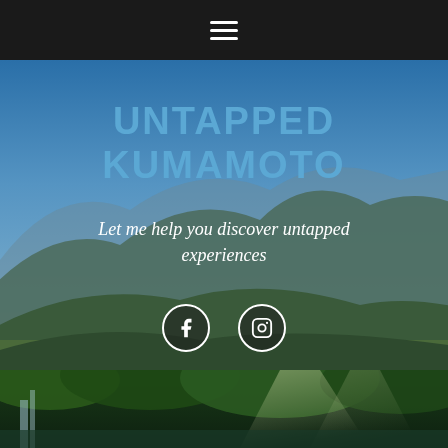Navigation bar with hamburger menu icon
UNTAPPED KUMAMOTO
Let me help you discover untapped experiences
[Figure (illustration): Mountain landscape background with blue sky and green hills in Kumamoto, Japan]
[Figure (illustration): Forest with waterfall and sunlight filtering through green trees]